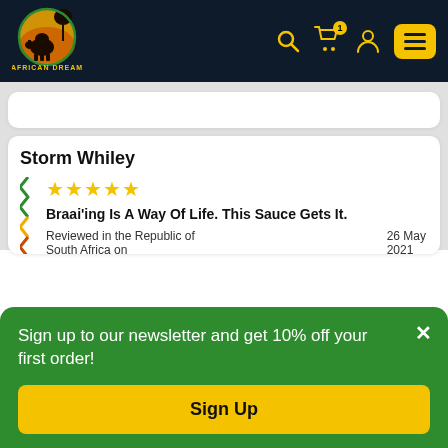[Figure (logo): African Dream Foods logo: elephant silhouette with sun and tree in green, gold, and orange circle, text 'AFRICAN DREAM FOODS' below]
African Dream Foods website header with logo, search icon, cart icon with badge '1', user icon, and menu button
Storm Whiley
Braai'ing Is A Way Of Life. This Sauce Gets It.
Reviewed in the Republic of South Africa on
26 May 2021
Sign up to our newsletter and get 10% off your first order!
Sign Up